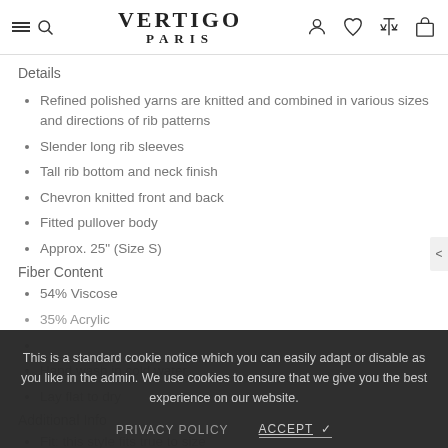VERTIGO PARIS
Details
Refined polished yarns are knitted and combined in various sizes and directions of rib patterns
Slender long rib sleeves
Tall rib bottom and neck finish
Chevron knitted front and back
Fitted pullover body
Approx. 25" (Size S)
Fiber Content
54% Viscose
35% Acrylic
Hand wash in cold water
Lay flat to dry
Additional Info
Fit: this style fits true to size
This is a standard cookie notice which you can easily adapt or disable as you like in the admin. We use cookies to ensure that we give you the best experience on our website.
PRIVACY POLICY    ACCEPT ✓